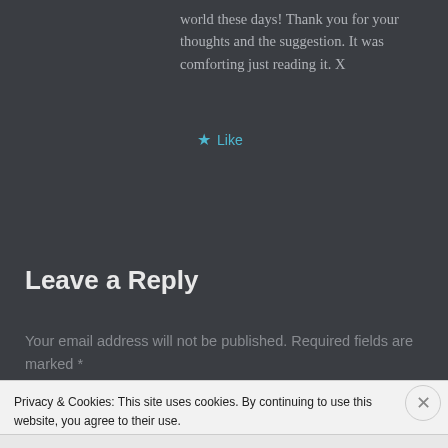world these days! Thank you for your thoughts and the suggestion. It was comforting just reading it. X
★ Like
Leave a Reply
Your email address will not be published. Required fields are marked *
Privacy & Cookies: This site uses cookies. By continuing to use this website, you agree to their use. To find out more, including how to control cookies, see here: Cookie Policy
Close and accept